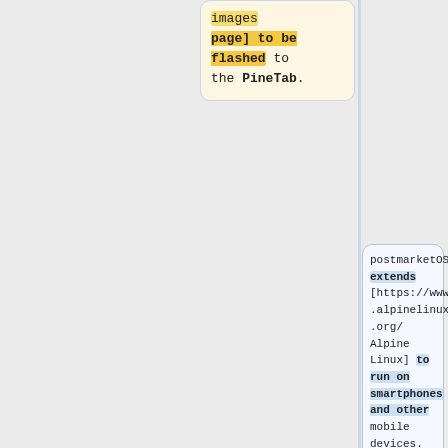images page] to be flashed to the PineTab.
postmarketOS extends [https://www.alpinelinux.org/ Alpine Linux] to run on smartphones and other mobile devices.
It offers various